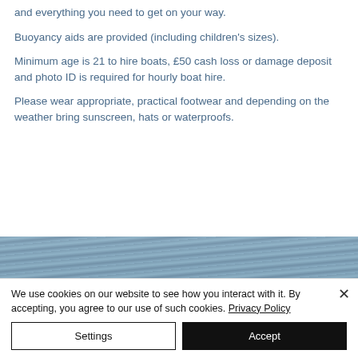and everything you need to get on your way.
Buoyancy aids are provided (including children's sizes).
Minimum age is 21 to hire boats, £50 cash loss or damage deposit and photo ID is required for hourly boat hire.
Please wear appropriate, practical footwear and depending on the weather bring sunscreen, hats or waterproofs.
[Figure (photo): Partial view of a water/marina scene, appearing at the bottom of the page content area]
We use cookies on our website to see how you interact with it. By accepting, you agree to our use of such cookies. Privacy Policy
Settings
Accept